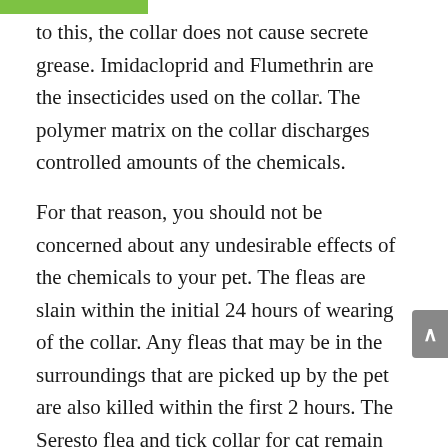to this, the collar does not cause secrete grease. Imidacloprid and Flumethrin are the insecticides used on the collar. The polymer matrix on the collar discharges controlled amounts of the chemicals.
For that reason, you should not be concerned about any undesirable effects of the chemicals to your pet. The fleas are slain within the initial 24 hours of wearing of the collar. Any fleas that may be in the surroundings that are picked up by the pet are also killed within the first 2 hours. The Seresto flea and tick collar for cat remain working for the subsequent eight months. The cats are secure from any infections brought about by the fleas because the fleas do not get any chance to bite the cat; they are killed through any contact made.